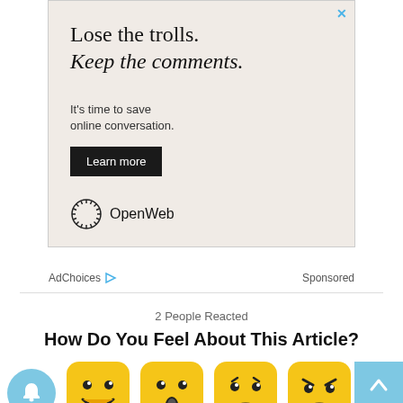[Figure (screenshot): Advertisement with beige background. Large text reads 'Lose the trolls. Keep the comments.' (second line italic). Below: 'It's time to save online conversation.' A black 'Learn more' button. OpenWeb logo at bottom.]
AdChoices ▷  Sponsored
2 People Reacted
How Do You Feel About This Article?
[Figure (infographic): Row of emoji reaction icons: bell notification button (blue circle), happy face emoji, surprised face emoji, sad face emoji, angry face emoji. Scroll-to-top button on right (blue square with up arrow).]